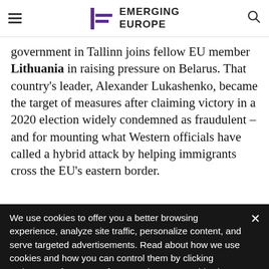EMERGING EUROPE
government in Tallinn joins fellow EU member Lithuania in raising pressure on Belarus. That country's leader, Alexander Lukashenko, became the target of measures after claiming victory in a 2020 election widely condemned as fraudulent – and for mounting what Western officials have called a hybrid attack by helping immigrants cross the EU's eastern border.
We use cookies to offer you a better browsing experience, analyze site traffic, personalize content, and serve targeted advertisements. Read about how we use cookies and how you can control them by clicking "Privacy Preferences". If you continue to use this site, you consent to our use of cookies. More...